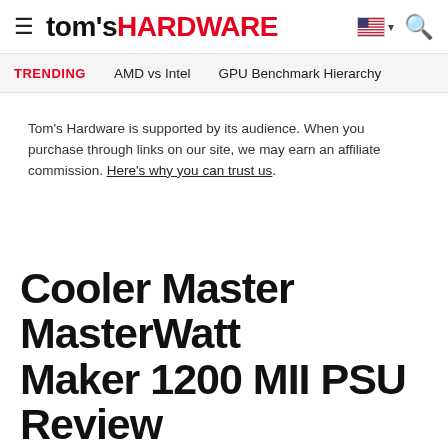tom's HARDWARE
TRENDING   AMD vs Intel   GPU Benchmark Hierarchy
Tom's Hardware is supported by its audience. When you purchase through links on our site, we may earn an affiliate commission. Here's why you can trust us.
Cooler Master MasterWatt Maker 1200 MII PSU Review